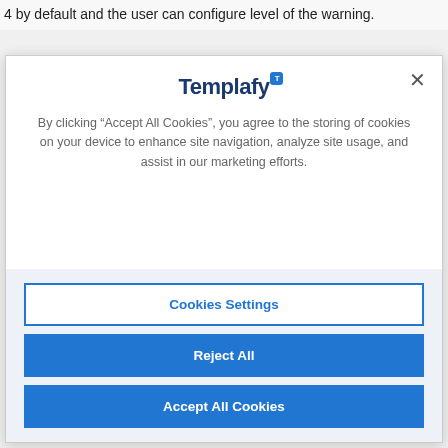4 by default and the user can configure level of the warning.
[Figure (screenshot): Cookie consent modal dialog for Templafy website. Contains the Templafy logo at the top, a close button (×), cookie consent text, and three buttons: Cookies Settings (outlined), Reject All (filled blue), and Accept All Cookies (filled blue). The bottom section has a light blue background.]